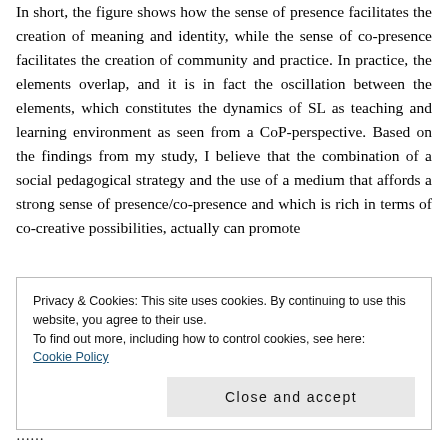In short, the figure shows how the sense of presence facilitates the creation of meaning and identity, while the sense of co-presence facilitates the creation of community and practice. In practice, the elements overlap, and it is in fact the oscillation between the elements, which constitutes the dynamics of SL as teaching and learning environment as seen from a CoP-perspective. Based on the findings from my study, I believe that the combination of a social pedagogical strategy and the use of a medium that affords a strong sense of presence/co-presence and which is rich in terms of co-creative possibilities, actually can promote
Privacy & Cookies: This site uses cookies. By continuing to use this website, you agree to their use.
To find out more, including how to control cookies, see here:
Cookie Policy
Close and accept
...